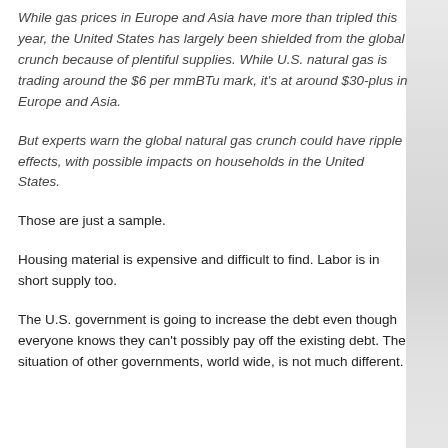While gas prices in Europe and Asia have more than tripled this year, the United States has largely been shielded from the global crunch because of plentiful supplies. While U.S. natural gas is trading around the $6 per mmBTu mark, it's at around $30-plus in Europe and Asia.
But experts warn the global natural gas crunch could have ripple effects, with possible impacts on households in the United States.
Those are just a sample.
Housing material is expensive and difficult to find. Labor is in short supply too.
The U.S. government is going to increase the debt even though everyone knows they can't possibly pay off the existing debt. The situation of other governments, world wide, is not much different.